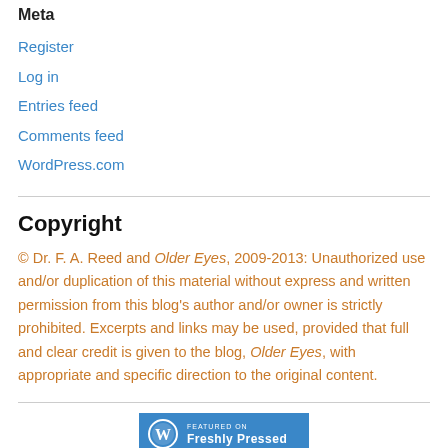Meta
Register
Log in
Entries feed
Comments feed
WordPress.com
Copyright
© Dr. F. A. Reed and Older Eyes, 2009-2013: Unauthorized use and/or duplication of this material without express and written permission from this blog's author and/or owner is strictly prohibited. Excerpts and links may be used, provided that full and clear credit is given to the blog, Older Eyes, with appropriate and specific direction to the original content.
[Figure (logo): WordPress 'Featured on Freshly Pressed' badge with blue background and WordPress logo]